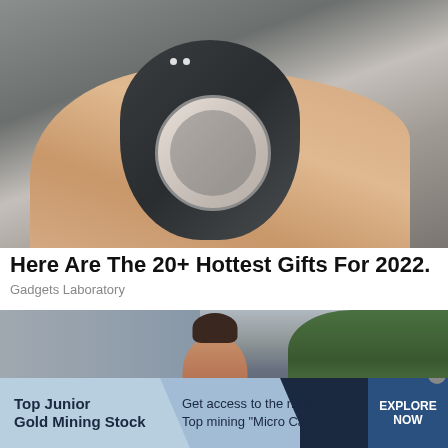[Figure (photo): A hand holding a dark gray smart ring device with two white LED dots and a circular opening, photographed against a blurred background]
Here Are The 20+ Hottest Gifts For 2022.
Gadgets Laboratory
[Figure (photo): A woman with dark hair in a bun smiling outdoors, with a beige building wall and green trees in the background]
Top Junior Gold Mining Stock  Get access to the next Top mining "Micro Cap" here!  EXPLORE NOW